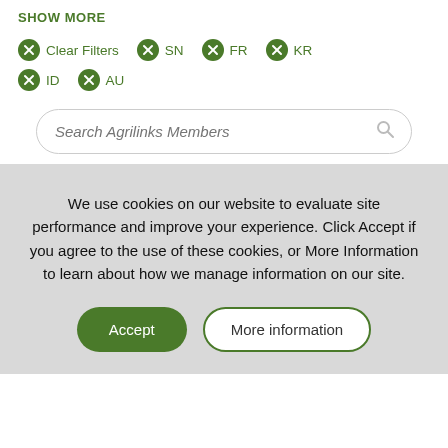SHOW MORE
Clear Filters
SN
FR
KR
ID
AU
Search Agrilinks Members
We use cookies on our website to evaluate site performance and improve your experience. Click Accept if you agree to the use of these cookies, or More Information to learn about how we manage information on our site.
Accept
More information